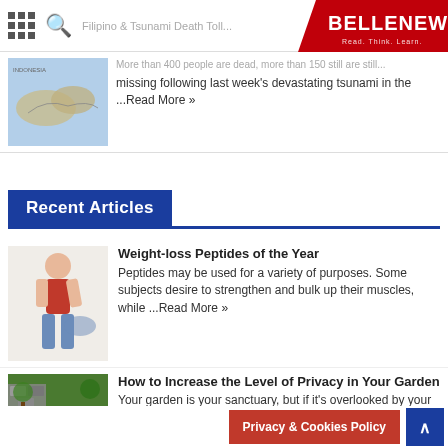BELLENEWS - Read. Think. Learn.
[Figure (screenshot): Map image showing Indonesian archipelago region]
missing following last week's devastating tsunami in the ...Read More »
Recent Articles
[Figure (photo): Woman in red top showing weight loss, holding out oversized jeans]
Weight-loss Peptides of the Year
Peptides may be used for a variety of purposes. Some subjects desire to strengthen and bulk up their muscles, while ...Read More »
[Figure (photo): Garden with stone wall and bench, green lawn]
How to Increase the Level of Privacy in Your Garden
Your garden is your sanctuary, but if it's overlooked by your neighbors or passers-by, you might start to feel uncomfortable ...Read More »
Privacy & Cookies Policy